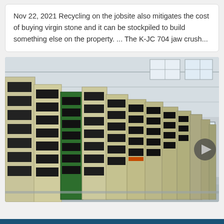Nov 22, 2021 Recycling on the jobsite also mitigates the cost of buying virgin stone and it can be stockpiled to build something else on the property. ... The K-JC 704 jaw crush...
[Figure (photo): Industrial warehouse interior showing a row of large jaw crusher machines with cream/beige and black colored steel frames stacked and lined up along the floor. The machines appear to be crusher wear parts or new jaw crusher units stored inside a large factory or distribution facility with high ceilings and natural light.]